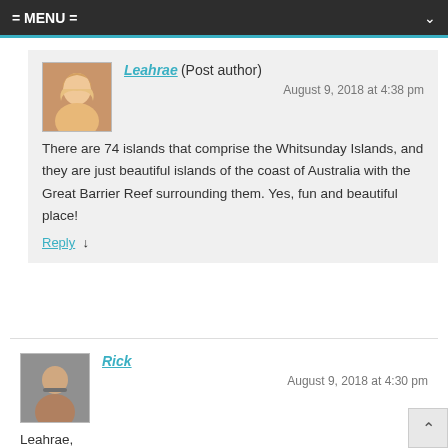= MENU =
Leahrae (Post author)
August 9, 2018 at 4:38 pm

There are 74 islands that comprise the Whitsunday Islands, and they are just beautiful islands of the coast of Australia with the Great Barrier Reef surrounding them. Yes, fun and beautiful place!

Reply ↓
Rick
August 9, 2018 at 4:30 pm

Leahrae,

Excellent, informative article. You covered all the bases. I almost feel like I visited. I'll be looking at your other articles as well.